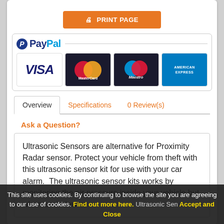[Figure (other): Print Page button (orange) with printer icon]
[Figure (other): PayPal payment section with VISA, MasterCard, Maestro, and American Express card logos]
Overview  |  Specifications  |  0 Review(s)
Ask a Question?
Ultrasonic Sensors are alternative for Proximity Radar sensor. Protect your vehicle from theft with this ultrasonic sensor kit for use with your car alarm.  The ultrasonic sensor kits works by monitoring the air pressure inside your vehicle but when a window or
This site uses cookies. By continuing to browse the site you are agreeing to our use of cookies. Find out more here. Accept and Close